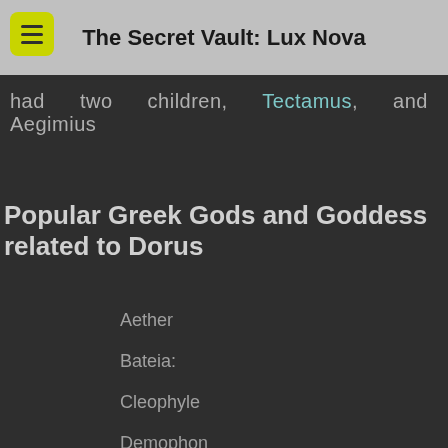The Secret Vault: Lux Nova
had two children, Tectamus, and Aegimius
Popular Greek Gods and Goddess related to Dorus
Aether
Bateia:
Cleophyle
Demophon
Dysnomia
Eurystheus